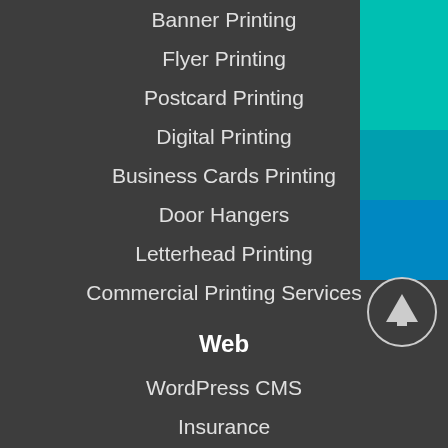Banner Printing
Flyer Printing
Postcard Printing
Digital Printing
Business Cards Printing
Door Hangers
Letterhead Printing
Commercial Printing Services
Web
WordPress CMS
Insurance
Small Business Websites
Facebook
SEO Marketing